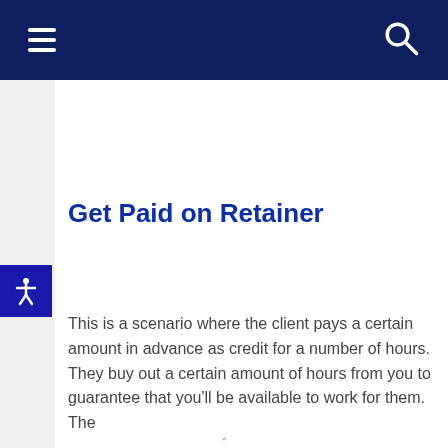Get Paid on Retainer
This is a scenario where the client pays a certain amount in advance as credit for a number of hours. They buy out a certain amount of hours from you to guarantee that you'll be available to work for them. The